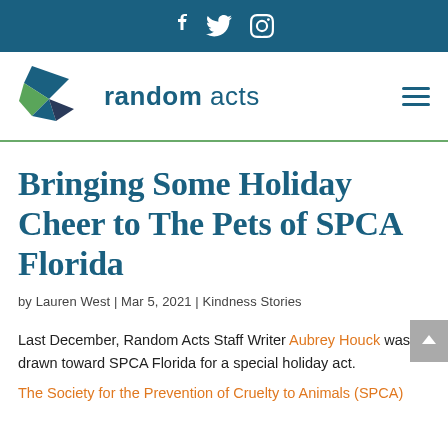f  (twitter)  (instagram) — social media icons
[Figure (logo): Random Acts logo: geometric paper crane shape in dark blue and green, with text 'random acts' in teal/dark blue]
Bringing Some Holiday Cheer to The Pets of SPCA Florida
by Lauren West | Mar 5, 2021 | Kindness Stories
Last December, Random Acts Staff Writer Aubrey Houck was drawn toward SPCA Florida for a special holiday act.
The Society for the Prevention of Cruelty to Animals (SPCA)